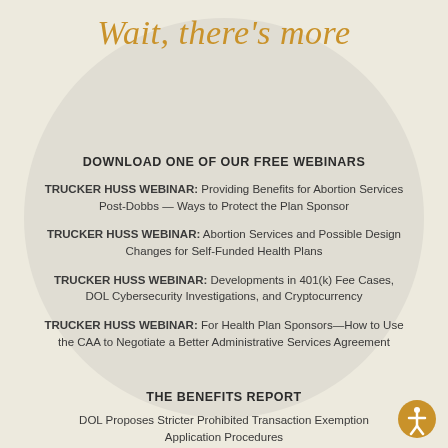Wait, there's more
DOWNLOAD ONE OF OUR FREE WEBINARS
TRUCKER HUSS WEBINAR: Providing Benefits for Abortion Services Post-Dobbs — Ways to Protect the Plan Sponsor
TRUCKER HUSS WEBINAR: Abortion Services and Possible Design Changes for Self-Funded Health Plans
TRUCKER HUSS WEBINAR: Developments in 401(k) Fee Cases, DOL Cybersecurity Investigations, and Cryptocurrency
TRUCKER HUSS WEBINAR: For Health Plan Sponsors—How to Use the CAA to Negotiate a Better Administrative Services Agreement
THE BENEFITS REPORT
DOL Proposes Stricter Prohibited Transaction Exemption Application Procedures